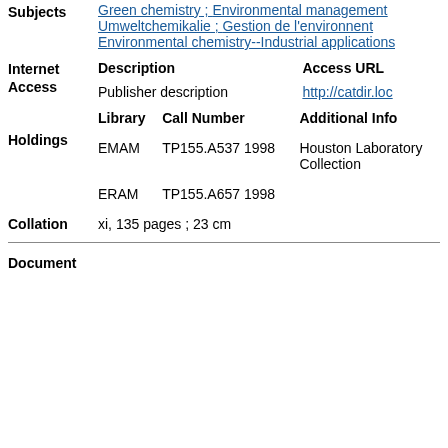Green chemistry ; Environmental management ; Umweltchemikalie ; Gestion de l'environnement ; Environmental chemistry--Industrial applications
| Description | Access URL |
| --- | --- |
| Publisher description | http://catdir.loc... |
| Library | Call Number | Additional Info |
| --- | --- | --- |
| EMAM | TP155.A537 1998 | Houston Laboratory Collection |
| ERAM | TP155.A657 1998 |  |
xi, 135 pages ; 23 cm
Document